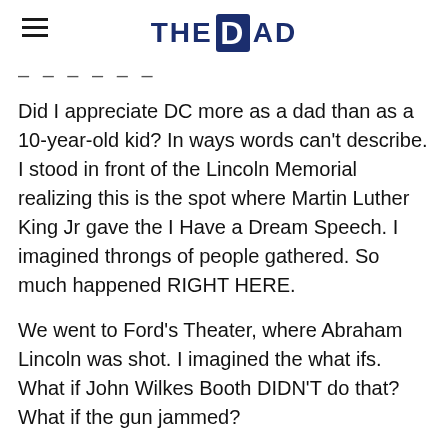THE DAD
Did I appreciate DC more as a dad than as a 10-year-old kid? In ways words can't describe. I stood in front of the Lincoln Memorial realizing this is the spot where Martin Luther King Jr gave the I Have a Dream Speech. I imagined throngs of people gathered. So much happened RIGHT HERE.
We went to Ford's Theater, where Abraham Lincoln was shot. I imagined the what ifs. What if John Wilkes Booth DIDN'T do that? What if the gun jammed?